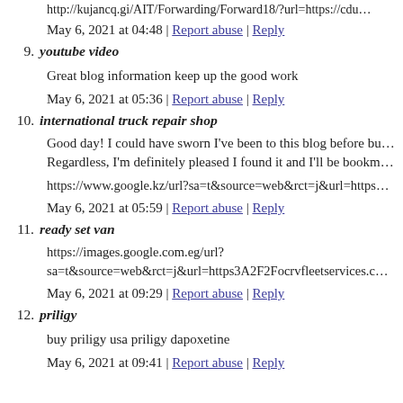http://kujancq.gi/AIT/Forwarding/Forward18/?url=https://cdu…
May 6, 2021 at 04:48 | Report abuse | Reply
9. youtube video
Great blog information keep up the good work
May 6, 2021 at 05:36 | Report abuse | Reply
10. international truck repair shop
Good day! I could have sworn I've been to this blog before bu… Regardless, I'm definitely pleased I found it and I'll be bookm…
https://www.google.kz/url?sa=t&source=web&rct=j&url=https…
May 6, 2021 at 05:59 | Report abuse | Reply
11. ready set van
https://images.google.com.eg/url?sa=t&source=web&rct=j&url=https3A2F2Focrvfleetservices.c…
May 6, 2021 at 09:29 | Report abuse | Reply
12. priligy
buy priligy usa priligy dapoxetine
May 6, 2021 at 09:41 | Report abuse | Reply